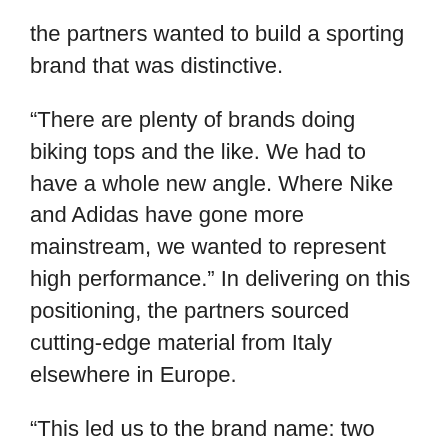the partners wanted to build a sporting brand that was distinctive.
“There are plenty of brands doing biking tops and the like. We had to have a whole new angle. Where Nike and Adidas have gone more mainstream, we wanted to represent high performance.” In delivering on this positioning, the partners sourced cutting-edge material from Italy elsewhere in Europe.
“This led us to the brand name: two times you. We’re going to cloak you with technology that will make you go stronger, more agile. The whole point of the brand is to make you more than what you are. We say fashion is important, but